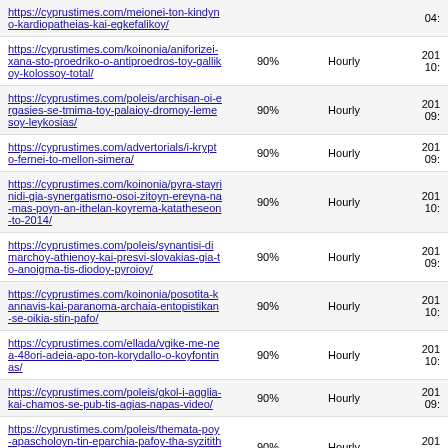| URL | Priority | Change Freq | Last Modified |
| --- | --- | --- | --- |
| https://cyprustimes.com/meionei-ton-kindyno-kardiopatheias-kai-egkefalikoy/ |  |  | 04: |
| https://cyprustimes.com/koinonia/aniforizei-xana-sto-proedriko-o-antiproedros-toy-gallikoy-kolossoy-total/ | 90% | Hourly | 201 10: |
| https://cyprustimes.com/poleis/archisan-oi-ergasies-se-tmima-toy-palaioy-dromoy-lemesoy-leykosias/ | 90% | Hourly | 201 09: |
| https://cyprustimes.com/advertorials/i-krypto-fernei-to-mellon-simera/ | 90% | Hourly | 201 09: |
| https://cyprustimes.com/koinonia/pyra-stayrinidi-gia-synergatismo-osoi-zitoyn-ereyna-na-mas-poyn-an-ithelan-koyrema-katatheseon-to-2014/ | 90% | Hourly | 201 10: |
| https://cyprustimes.com/poleis/synantisi-dimarchoy-athienoy-kai-presvi-slovakias-gia-to-anoigma-tis-diodoy-pyroioy/ | 90% | Hourly | 201 09: |
| https://cyprustimes.com/koinonia/posotita-kannavis-kai-paranoma-archaia-entopistikan-se-oikia-stin-pafo/ | 90% | Hourly | 201 10: |
| https://cyprustimes.com/ellada/vgike-me-nea-48ori-adeia-apo-ton-korydallo-o-koyfontinas/ | 90% | Hourly | 201 10: |
| https://cyprustimes.com/poleis/gkol-i-agglia-kai-chamos-se-pub-tis-agias-napas-video/ | 90% | Hourly | 201 09: |
| https://cyprustimes.com/poleis/themata-poy-apascholoyn-tin-eparchia-pafoy-tha-syzitithoyn-se-syskepsi-ypo-ton-proedro-anastasiadi/ | 90% | Hourly | 201 09: |
| https://cyprustimes.com/economytimes/dimitriadis-kanena-apo-ta-25-megala-syntheta-erga-den-diekdikoyn-otidipote-pera-apo-ta-provlepomena/ | 90% | Hourly | 201 03: |
| https://cyprustimes.com/intimes/apisteyto-evale-gemato-oplo-sti-mesi-toy-eskynse-kai- | 90% | Hourly | 201 |